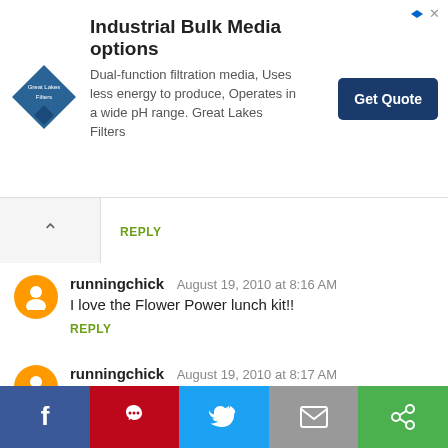[Figure (infographic): Advertisement banner: Great Lakes Filters logo (blue diamond), heading 'Industrial Bulk Media options', body text 'Dual-function filtration media, Uses less energy to produce, Operates in a wide pH range. Great Lakes Filters', and a dark blue 'Get Quote' button.]
REPLY
runningchick August 19, 2010 at 8:16 AM
I love the Flower Power lunch kit!!
REPLY
runningchick August 19, 2010 at 8:17 AM
I follow you on FB!
REPLY
runningchick August 19, 2010 at 8:17 AM
[Figure (infographic): Social sharing bar with Facebook, Pinterest, Twitter, Email, and share buttons]